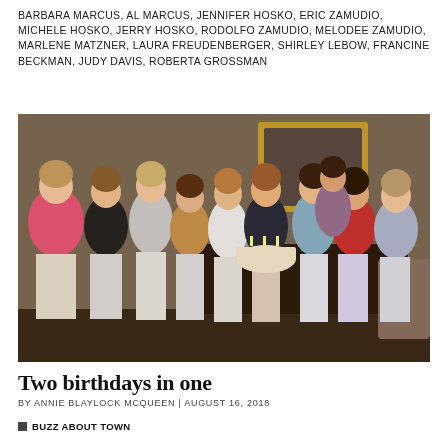BARBARA MARCUS, AL MARCUS, JENNIFER HOSKO, ERIC ZAMUDIO, MICHELE HOSKO, JERRY HOSKO, RODOLFO ZAMUDIO, MELODEE ZAMUDIO, MARLENE MATZNER, LAURA FREUDENBERGER, SHIRLEY LEBOW, FRANCINE BECKMAN, JUDY DAVIS, ROBERTA GROSSMAN
[Figure (photo): A group of approximately 12-13 women gathered indoors, smiling and posing together. Several are holding a birthday cake with candles. They are dressed in casual summer attire in a home setting with a gold-framed mirror visible in the background.]
Two birthdays in one
BY ANNIE BLAYLOCK MCQUEEN | AUGUST 16, 2018
BUZZ ABOUT TOWN